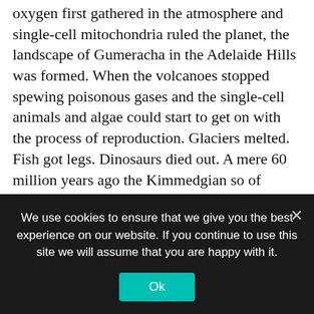oxygen first gathered in the atmosphere and single-cell mitochondria ruled the planet, the landscape of Gumeracha in the Adelaide Hills was formed. When the volcanoes stopped spewing poisonous gases and the single-cell animals and algae could start to get on with the process of reproduction. Glaciers melted. Fish got legs. Dinosaurs died out. A mere 60 million years ago the Kimmedgian so of Chablis formed. Humans started fires. It's been a long way, baby. Until 2000, when the Baldarasso family called two of Australia's finest winemakers Paul Drogemuller a S.C.Pannell to see what they could do. The incredible S.C. Pannell What I wanted to taste here on my trip to Australia was a Nebbiolo from Adelaide Hills. If anyone could make a Nebbiolo outside of Piedmonte, which seems almost an
[Figure (other): Follow me social media tab on the right side with a bird icon and 'Follow me' text rotated vertically]
We use cookies to ensure that we give you the best experience on our website. If you continue to use this site we will assume that you are happy with it.